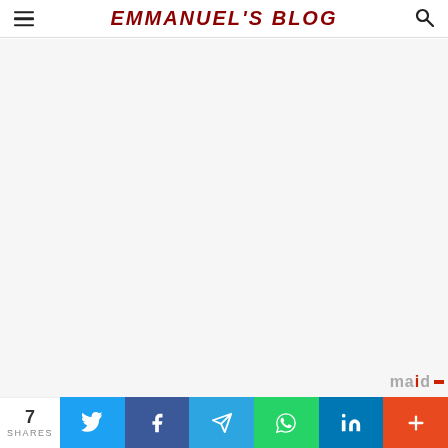EMMANUEL'S BLOG
[Figure (other): Large white/light grey blank content area below the header, representing an empty blog page body]
[Figure (other): Maid logo text partially visible at bottom right of content area]
7 SHARES | Twitter share button | Facebook share button | Telegram share button | WhatsApp share button | LinkedIn share button | More share button